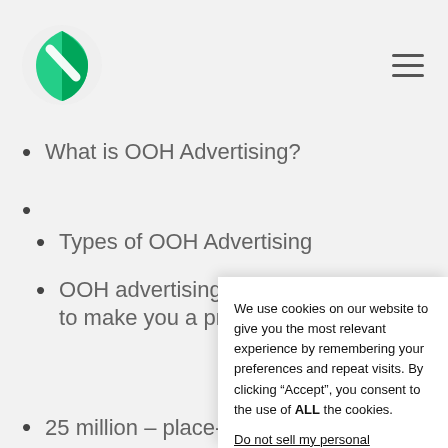What is OOH Advertising?
Types of OOH Advertising
OOH advertising statistics and figures to make you a pro
We use cookies on our website to give you the most relevant experience by remembering your preferences and repeat visits. By clicking “Accept”, you consent to the use of ALL the cookies.
Do not sell my personal information.
Cookie settings   ACCEPT
25 million – place-based